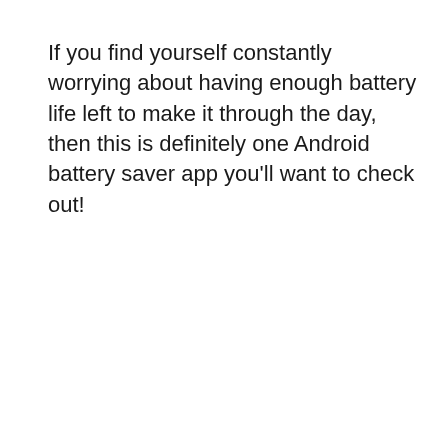If you find yourself constantly worrying about having enough battery life left to make it through the day, then this is definitely one Android battery saver app you'll want to check out!